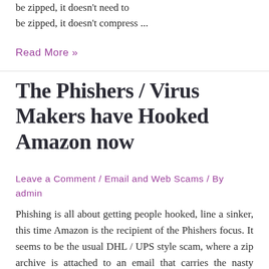be zipped, it doesn't need to be zipped, it doesn't compress ...
Read More »
The Phishers / Virus Makers have Hooked Amazon now
Leave a Comment / Email and Web Scams / By admin
Phishing is all about getting people hooked, line a sinker, this time Amazon is the recipient of the Phishers focus. It seems to be the usual DHL / UPS style scam, where a zip archive is attached to an email that carries the nasty payload.